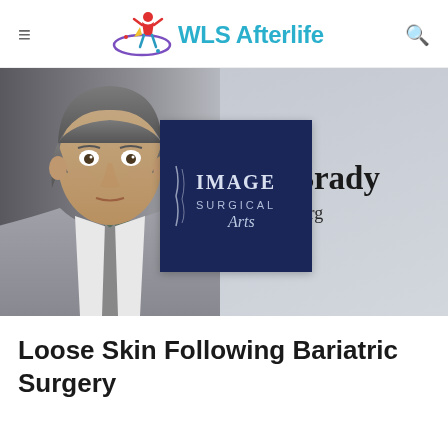WLS Afterlife
[Figure (photo): Banner image showing a male doctor (Dr. Brady) on the left side with gray hair wearing a suit, and the Image Surgical Arts logo (dark blue square with white text) in the center, and partially visible text 'Dr. Brady' and 'Image Surg' on the right side against a gray background.]
Loose Skin Following Bariatric Surgery